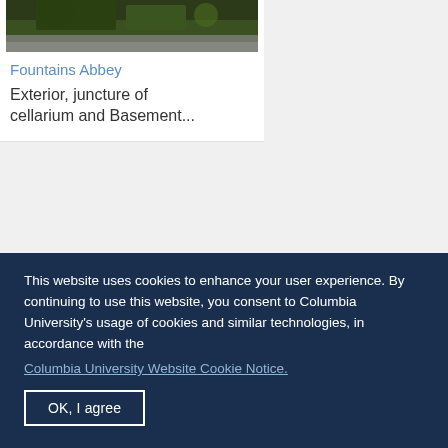[Figure (photo): Partial photo of Fountains Abbey exterior, showing stone ruins with green foliage, cropped at top]
Fountains Abbey
Exterior, juncture of cellarium and Basement...
[Figure (photo): Photo of Fountains Abbey ruins under a blue sky with white clouds. Stone tower and walls visible with green trees in background.]
This website uses cookies to enhance your user experience. By continuing to use this website, you consent to Columbia University's usage of cookies and similar technologies, in accordance with the
Columbia University Website Cookie Notice.
OK, I agree